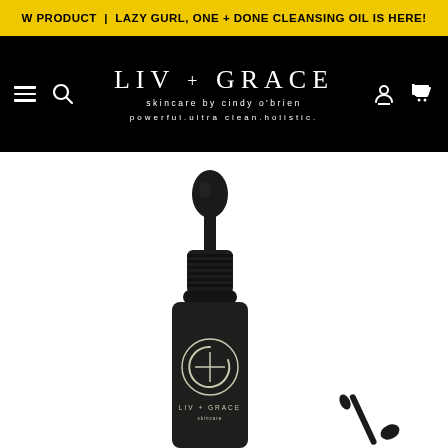NEW PRODUCT | LAZY GURL, ONE + DONE CLEANSING OIL IS HERE!
[Figure (logo): LIV + GRACE skincare brand logo and navigation bar with hamburger menu, search icon on the left, brand name 'LIV + GRACE' with tagline 'skincare by cindy o'brien' and 'powerful.ultra clean.holistic.' centered, and account and cart icons on the right, all on black background]
[Figure (photo): Dark green/black dropper bottle product with LIV + GRACE logo on it, showing the dropper cap and bottle body, with a second dropper visible in the lower right corner, on white background]